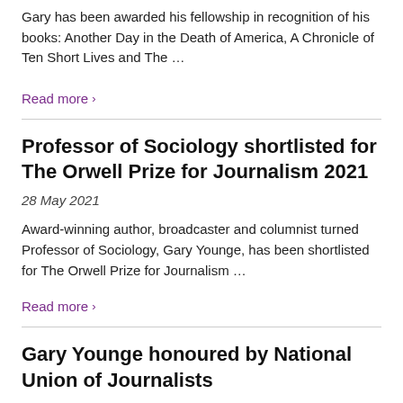Gary has been awarded his fellowship in recognition of his books: Another Day in the Death of America, A Chronicle of Ten Short Lives and The ...
Read more ›
Professor of Sociology shortlisted for The Orwell Prize for Journalism 2021
28 May 2021
Award-winning author, broadcaster and columnist turned Professor of Sociology, Gary Younge, has been shortlisted for The Orwell Prize for Journalism ...
Read more ›
Gary Younge honoured by National Union of Journalists